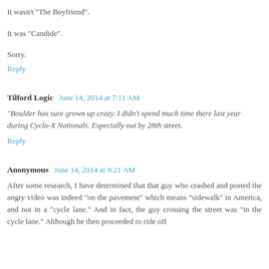It wasn't "The Boyfriend".
It was "Candide".
Sorry.
Reply
Tilford Logic   June 14, 2014 at 7:11 AM
"Boulder has sure grown up crazy. I didn't spend much time there last year during Cyclo-X Nationals. Especially out by 28th street.
Reply
Anonymous   June 14, 2014 at 9:21 AM
After some research, I have determined that that guy who crashed and posted the angry video was indeed "on the pavement" which means "sidewalk" in America, and not in a "cycle lane." And in fact, the guy crossing the street was "in the cycle lane." Although he then proceeded to ride off